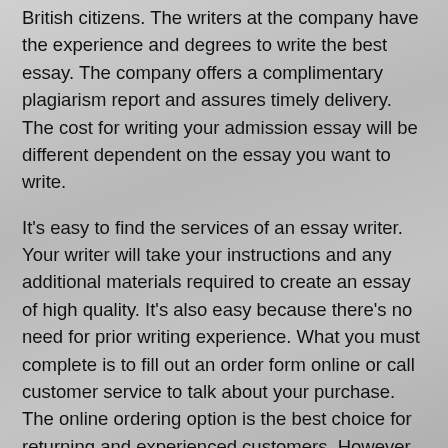British citizens. The writers at the company have the experience and degrees to write the best essay. The company offers a complimentary plagiarism report and assures timely delivery. The cost for writing your admission essay will be different dependent on the essay you want to write.
It's easy to find the services of an essay writer. Your writer will take your instructions and any additional materials required to create an essay of high quality. It's also easy because there's no need for prior writing experience. What you must complete is to fill out an order form online or call customer service to talk about your purchase. The online ordering option is the best choice for returning and experienced customers. However, new customers may call customer support to talk to a customer service representative.